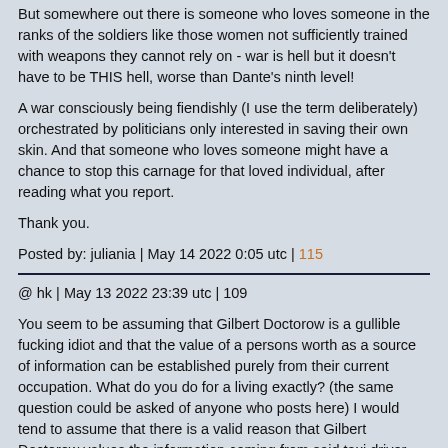But somewhere out there is someone who loves someone in the ranks of the soldiers like those women not sufficiently trained with weapons they cannot rely on - war is hell but it doesn't have to be THIS hell, worse than Dante's ninth level!
A war consciously being fiendishly (I use the term deliberately) orchestrated by politicians only interested in saving their own skin. And that someone who loves someone might have a chance to stop this carnage for that loved individual, after reading what you report.
Thank you.
Posted by: juliania | May 14 2022 0:05 utc | 115
@ hk | May 13 2022 23:39 utc | 109
You seem to be assuming that Gilbert Doctorow is a gullible fucking idiot and that the value of a persons worth as a source of information can be established purely from their current occupation. What do you do for a living exactly? (the same question could be asked of anyone who posts here) I would tend to assume that there is a valid reason that Gilbert Doctorow values the information coming from said taxi driver, presumably because previous information and/or predictions have turned out to be correct.